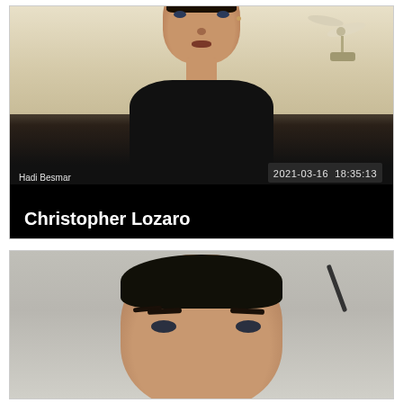[Figure (screenshot): Video call screenshot showing a man in a black jacket (Hadi Besmar / Christopher Lozaro) with timestamp 2021-03-16 18:35:13 in the upper frame, and another man's face (top of head) in the lower frame.]